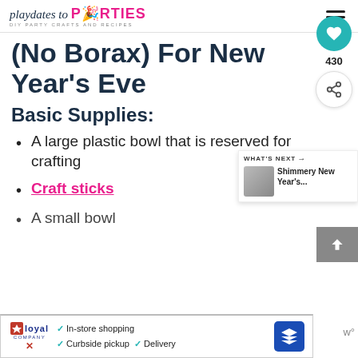playdates to PARTIES — DIY PARTY CRAFTS AND RECIPES
(No Borax) For New Year's Eve
Basic Supplies:
A large plastic bowl that is reserved for crafting
Craft sticks
A small bowl
[Figure (other): Social sharing sidebar with heart icon (430 saves) and share button]
[Figure (other): What's Next promo widget showing Shimmery New Year's...]
[Figure (other): Bottom advertisement banner: Loyal — In-store shopping, Curbside pickup, Delivery]